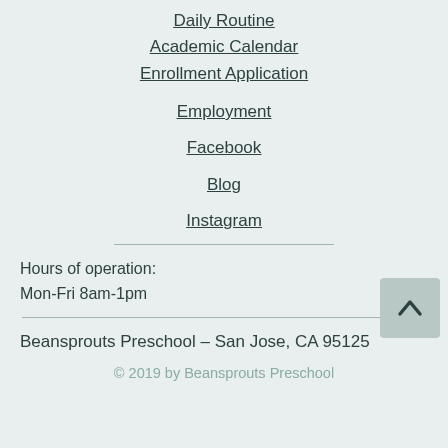Daily Routine
Academic Calendar
Enrollment Application
Employment
Facebook
Blog
Instagram
Hours of operation:
Mon-Fri 8am-1pm
Beansprouts Preschool – San Jose, CA 95125
© 2019 by Beansprouts Preschool